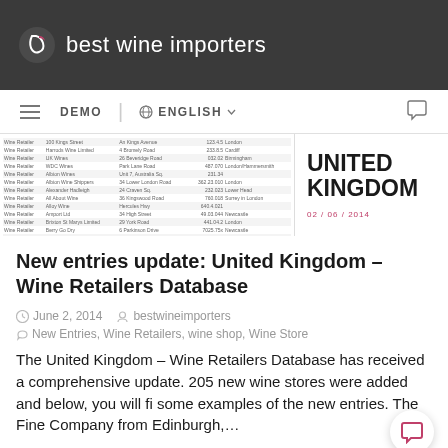best wine importers
DEMO | ENGLISH
[Figure (screenshot): Screenshot of a spreadsheet/table showing wine retailers data (left side) and UNITED KINGDOM text with date 02/06/2014 (right side)]
New entries update: United Kingdom – Wine Retailers Database
June 2, 2014   bestwineimporters
New Entries, Wine Retailers, wine shop, Wine Store
The United Kingdom – Wine Retailers Database has received a comprehensive update. 205 new wine stores were added and below, you will fi some examples of the new entries. The Fine Company from Edinburgh,…